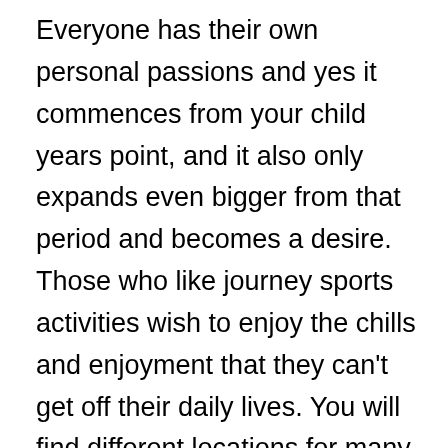Everyone has their own personal passions and yes it commences from your child years point, and it also only expands even bigger from that period and becomes a desire. Those who like journey sports activities wish to enjoy the chills and enjoyment that they can't get off their daily lives. You will find different locations for many different experience game titles and sporting activities, as some are now being played within the water even though some are enjoyed within the mountains. A lot of people visit these locations throughout their holidays and savor this once inside a lifetime expertise. There are many points that you ought to